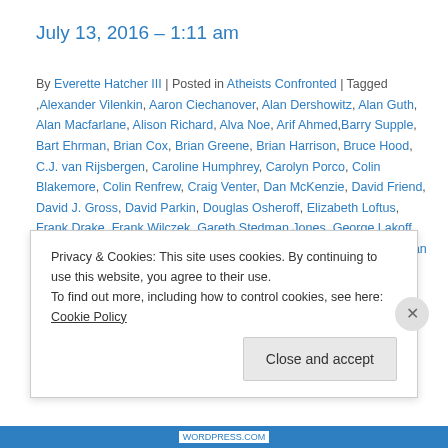July 13, 2016 – 1:11 am
By Everette Hatcher III | Posted in Atheists Confronted | Tagged ,Alexander Vilenkin, Aaron Ciechanover, Alan Dershowitz, Alan Guth, Alan Macfarlane, Alison Richard, Alva Noe, Arif Ahmed,Barry Supple, Bart Ehrman, Brian Cox, Brian Greene, Brian Harrison, Bruce Hood, C.J. van Rijsbergen, Caroline Humphrey, Carolyn Porco, Colin Blakemore, Colin Renfrew, Craig Venter, Dan McKenzie, David Friend, David J. Gross, David Parkin, Douglas Osheroff, Elizabeth Loftus, Frank Drake, Frank Wilczek, Gareth Stedman Jones, George Lakoff, Gerard 't Hooft, Haroon Ahmed, Harry Kroto, Herbert Huppert, Herman Philipse, Hermann Hauser, Horace Barlow, Hubert Dreyfus, Ivar Giaever, J. I.
Privacy & Cookies: This site uses cookies. By continuing to use this website, you agree to their use.
To find out more, including how to control cookies, see here: Cookie Policy